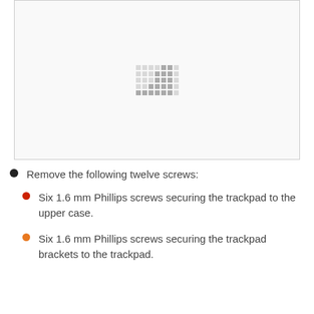[Figure (photo): A photograph or diagram area showing trackpad screw locations, currently loading or placeholder with dot grid pattern]
Remove the following twelve screws:
Six 1.6 mm Phillips screws securing the trackpad to the upper case.
Six 1.6 mm Phillips screws securing the trackpad brackets to the trackpad.